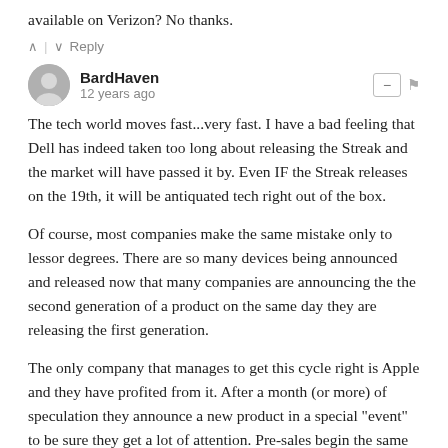available on Verizon? No thanks.
^ | v   Reply
BardHaven
12 years ago
The tech world moves fast...very fast. I have a bad feeling that Dell has indeed taken too long about releasing the Streak and the market will have passed it by. Even IF the Streak releases on the 19th, it will be antiquated tech right out of the box.
Of course, most companies make the same mistake only to lessor degrees. There are so many devices being announced and released now that many companies are announcing the the second generation of a product on the same day they are releasing the first generation.
The only company that manages to get this cycle right is Apple and they have profited from it. After a month (or more) of speculation they announce a new product in a special "event" to be sure they get a lot of attention. Pre-sales begin the same day as the announcement or soon after. Product is released about three weeks after announcement